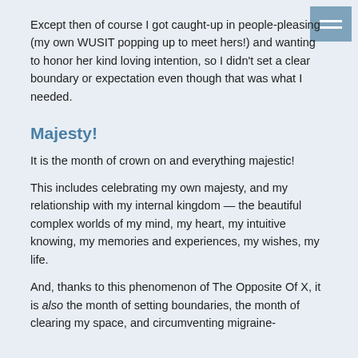Except then of course I got caught-up in people-pleasing (my own WUSIT popping up to meet hers!) and wanting to honor her kind loving intention, so I didn't set a clear boundary or expectation even though that was what I needed.
Majesty!
It is the month of crown on and everything majestic!
This includes celebrating my own majesty, and my relationship with my internal kingdom — the beautiful complex worlds of my mind, my heart, my intuitive knowing, my memories and experiences, my wishes, my life.
And, thanks to this phenomenon of The Opposite Of X, it is also the month of setting boundaries, the month of clearing my space, and circumventing migraine-